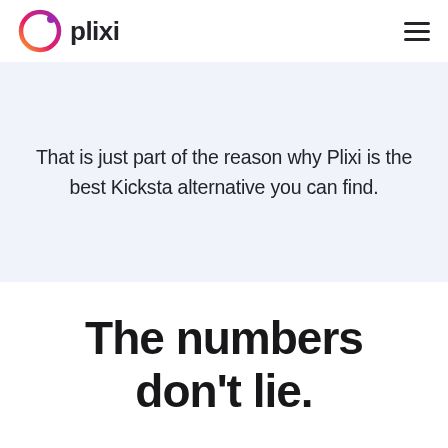plixi
That is just part of the reason why Plixi is the best Kicksta alternative you can find.
The numbers don't lie.